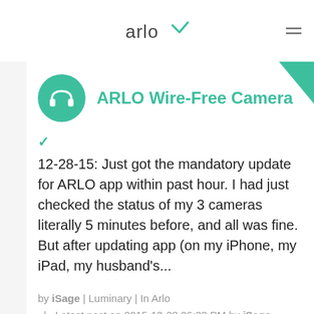arlo
ARLO Wire-Free Camera
12-28-15: Just got the mandatory update for ARLO app within past hour. I had just checked the status of my 3 cameras literally 5 minutes before, and all was fine.  But after updating app (on my iPhone, my iPad, my husband's...
by iSage | Luminary | In Arlo
  |   Latest post on 2015-12-28 06:33 PM by iSage
0   4   2659